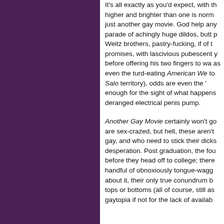It's all exactly as you'd expect, with the stakes higher and brighter than one is normally used to in just another gay movie. God help anyone expecting a parade of achingly huge dildos, butt plugs, the Weitz brothers, pastry-fucking, if of the film delivers promises, with lascivious pubescent yearning before offering his two fingers to wag in your face as even the turd-eating American We... (descending to Salo territory), odds are even the '...' enough for the sight of what happens with a deranged electrical penis pump.
Another Gay Movie certainly won't go... are sex-crazed, but hell, these aren't gay, and who need to stick their dicks... desperation. Post graduation, the fou... before they head off to college; there... handful of obnoxiously tongue-wagg... about it, their only true conundrum b... tops or bottoms (all of course, still a... gaytopia if not for the lack of availab...